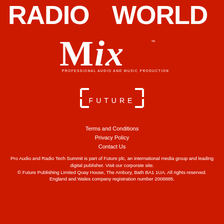[Figure (logo): Radio World logo — white bold text 'RADIOWORLD' on red background]
[Figure (logo): Mix magazine logo — white serif 'MIX' with tagline 'PROFESSIONAL AUDIO AND MUSIC PRODUCTION' on red background]
[Figure (logo): Future plc logo — white bracket corners with 'FUTURE' text in between]
Terms and Conditions
Privacy Policy
Contact Us
Pro Audio and Radio Tech Summit is part of Future plc, an international media group and leading digital publisher. Visit our corporate site. © Future Publishing Limited Quay House, The Ambury, Bath BA1 1UA. All rights reserved. England and Wales company registration number 2008885.